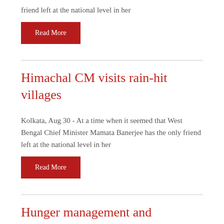friend left at the national level in her
Read More
Himachal CM visits rain-hit villages
Kolkata, Aug 30 - At a time when it seemed that West Bengal Chief Minister Mamata Banerjee has the only friend left at the national level in her
Read More
Hunger management and intermittent fasting
Kolkata, Aug 30 - At a time when it seemed that West Bengal Chief Minister Mamata Banerjee has the only friend left at the national level in her
Read More